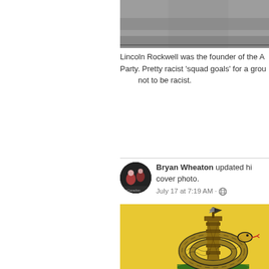[Figure (photo): Black and white photo, partially visible, cropped at top]
Lincoln Rockwell was the founder of the A... Party. Pretty racist 'squad goals' for a grou... not to be racist.
[Figure (screenshot): Facebook post by Bryan Wheaton updating his cover photo, dated July 17 at 7:19 AM, showing a Gadsden flag variant with a coiled snake around a column on yellow background]
Bryan Wheaton updated his cover photo. July 17 at 7:19 AM